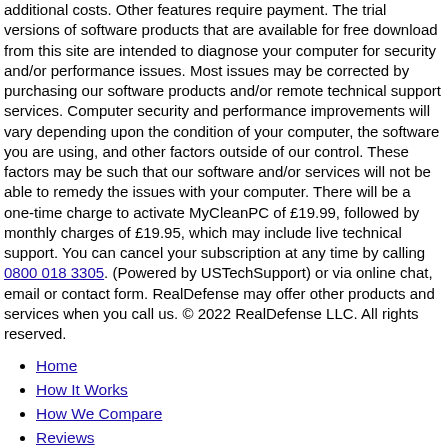additional costs. Other features require payment. The trial versions of software products that are available for free download from this site are intended to diagnose your computer for security and/or performance issues. Most issues may be corrected by purchasing our software products and/or remote technical support services. Computer security and performance improvements will vary depending upon the condition of your computer, the software you are using, and other factors outside of our control. These factors may be such that our software and/or services will not be able to remedy the issues with your computer. There will be a one-time charge to activate MyCleanPC of £19.99, followed by monthly charges of £19.95, which may include live technical support. You can cancel your subscription at any time by calling 0800 018 3305. (Powered by USTechSupport) or via online chat, email or contact form. RealDefense may offer other products and services when you call us. © 2022 RealDefense LLC. All rights reserved.
Home
How It Works
How We Compare
Reviews
Resources
FAQs
Contact Us
Affiliates